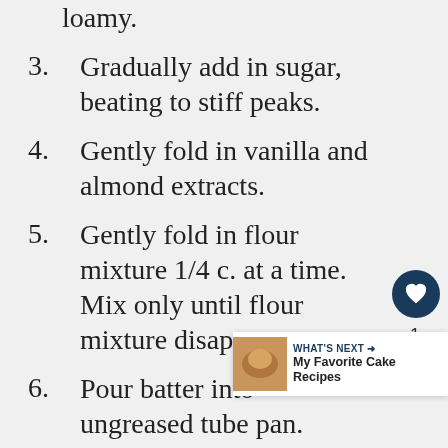loamy.
3. Gradually add in sugar, beating to stiff peaks.
4. Gently fold in vanilla and almond extracts.
5. Gently fold in flour mixture 1/4 c. at a time. Mix only until flour mixture disappears.
6. Pour batter into ungreased tube pan. Gently cut through batter.
7. Bake at 375 for 30-35 min. until top springs back when